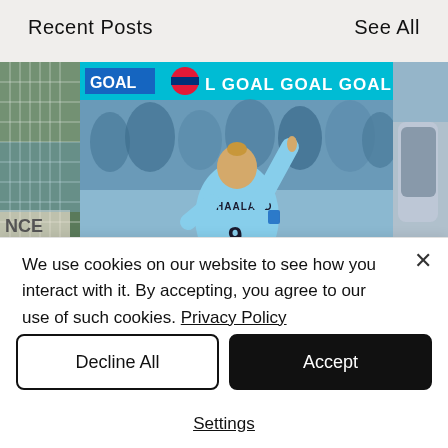Recent Posts
See All
[Figure (photo): Soccer match photo showing player with number 9 HAALAND jersey pointing up, with GOAL scoreboard banner visible, crowd in background. Partial images on left and right sides.]
Review and Player
We use cookies on our website to see how you interact with it. By accepting, you agree to our use of such cookies. Privacy Policy
Decline All
Accept
Settings